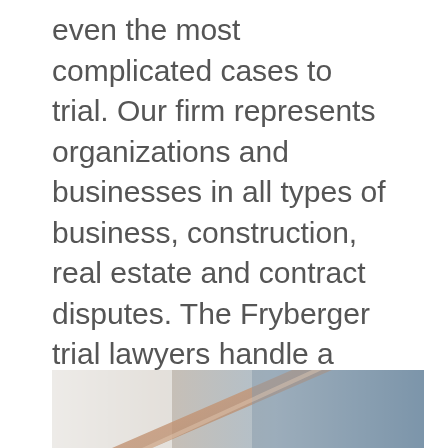even the most complicated cases to trial. Our firm represents organizations and businesses in all types of business, construction, real estate and contract disputes. The Fryberger trial lawyers handle a wide variety of disputes including construction defects, real estate, personal injury, contracts, …
Read More
[Figure (photo): Abstract close-up image showing curved surfaces with beige/tan and blue-grey tones, likely decorative legal firm imagery]